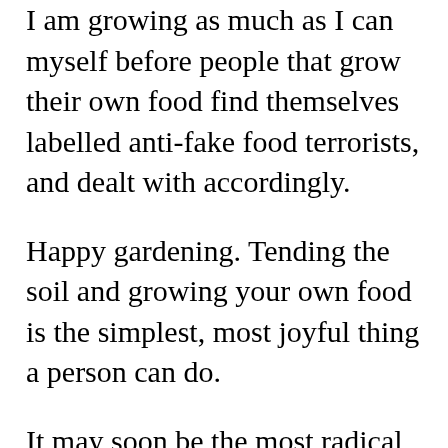I am growing as much as I can myself before people that grow their own food find themselves labelled anti-fake food terrorists, and dealt with accordingly.
Happy gardening. Tending the soil and growing your own food is the simplest, most joyful thing a person can do.
It may soon be the most radical, too.